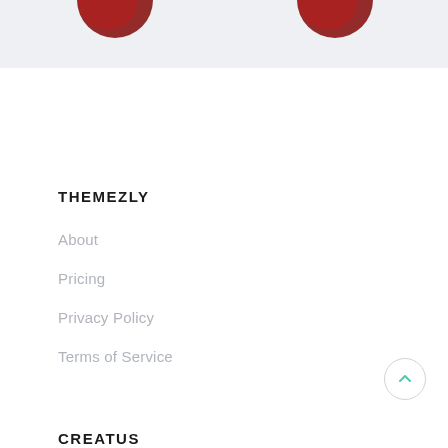[Figure (photo): Top banner with partial red decorative elements (dark red/maroon spheres or ornaments) on a light gray background, cropped at the top of the page.]
THEMEZLY
About
Pricing
Privacy Policy
Terms of Service
CREATUS